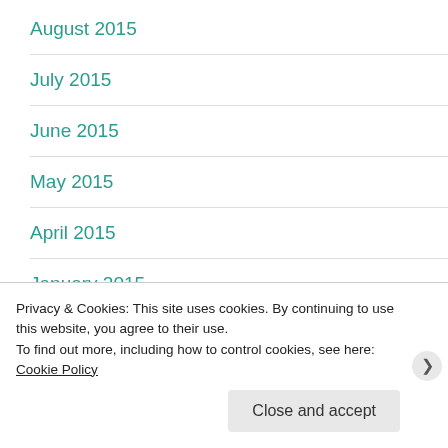August 2015
July 2015
June 2015
May 2015
April 2015
January 2015
November 2014
Privacy & Cookies: This site uses cookies. By continuing to use this website, you agree to their use. To find out more, including how to control cookies, see here: Cookie Policy
Close and accept